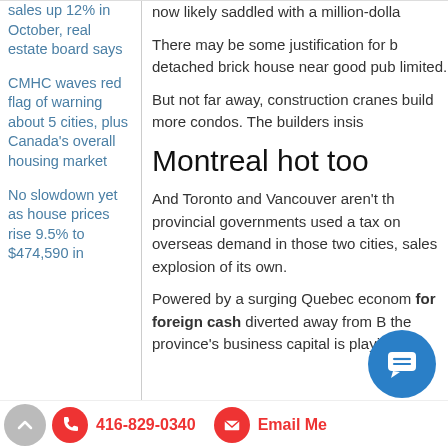sales up 12% in October, real estate board says
CMHC waves red flag of warning about 5 cities, plus Canada's overall housing market
No slowdown yet as house prices rise 9.5% to $474,590 in
now likely saddled with a million-dolla…
There may be some justification for b… detached brick house near good pub… limited.
But not far away, construction cranes… build more condos. The builders insis…
Montreal hot too
And Toronto and Vancouver aren't th… provincial governments used a tax on… overseas demand in those two cities, … sales explosion of its own.
Powered by a surging Quebec econom… for foreign cash diverted away from B… the province's business capital is playi…
416-829-0340   Email Me